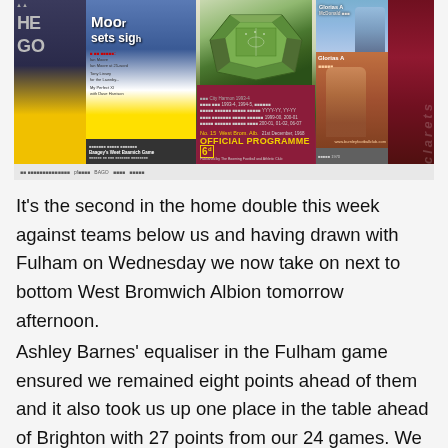[Figure (photo): Collage of football match programmes and magazine covers including West Brom Albion official programme and other football club materials]
It's the second in the home double this week against teams below us and having drawn with Fulham on Wednesday we now take on next to bottom West Bromwich Albion tomorrow afternoon.
Ashley Barnes' equaliser in the Fulham game ensured we remained eight points ahead of them and it also took us up one place in the table ahead of Brighton with 27 points from our 24 games. We are in that group now with Southampton, Crystal Palace, Brighton and Newcastle that, while looking relatively safe, those clubs know that a